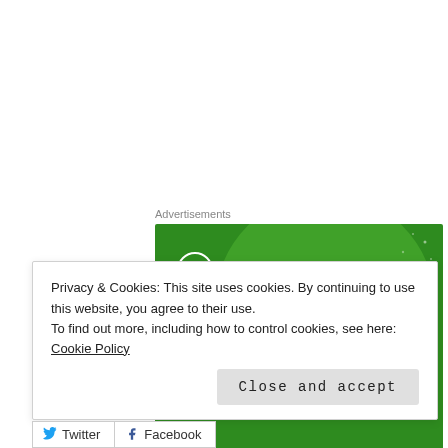Advertisements
[Figure (illustration): Jetpack WordPress plugin advertisement. Green background with large decorative circle and sparkle dots. Shows Jetpack logo (lightning bolt in circle) and tagline 'The best real-time WordPress backup plugin' with a white button at bottom.]
Privacy & Cookies: This site uses cookies. By continuing to use this website, you agree to their use.
To find out more, including how to control cookies, see here: Cookie Policy
Close and accept
Twitter
Facebook